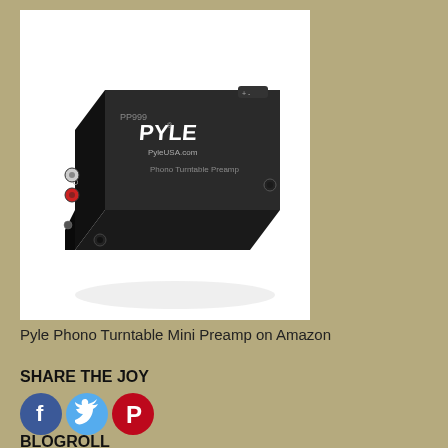[Figure (photo): Pyle PP999 Phono Turntable Mini Preamp - a small black rectangular device with RCA output connectors and PYLE branding, shown at an angle on a white background]
Pyle Phono Turntable Mini Preamp on Amazon
SHARE THE JOY
[Figure (infographic): Three social media icon buttons: Facebook (blue circle with f), Twitter (light blue circle with bird), Pinterest (red circle with P)]
BLOGROLL